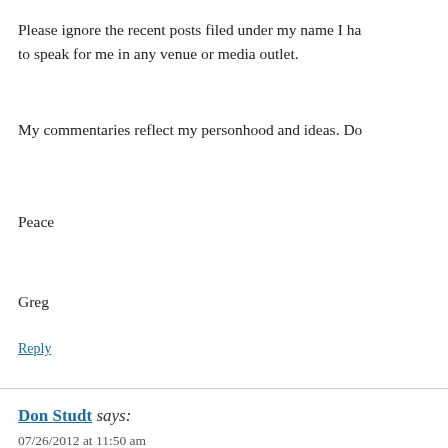Please ignore the recent posts filed under my name I ha... to speak for me in any venue or media outlet.
My commentaries reflect my personhood and ideas. Do...
Peace
Greg
Reply
Don Studt says:
07/26/2012 at 11:50 am
This article is a entirely off base, and lacks any support... Furthermore, your excuses for not providing sources a... obvious indication of your lack of any research at all. P... opinion on crime and law enforcement to those who un...